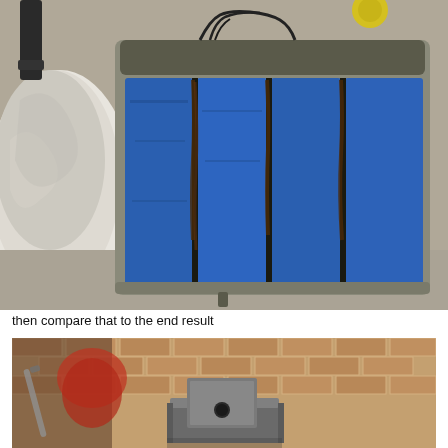[Figure (photo): Close-up photograph of a battery pack with blue cylindrical cells visible through a grey plastic housing frame, with visible electrolyte leakage/corrosion between cells. A white stone or ceramic object visible on the left side, with some yellow object at the top.]
then compare that to the end result
[Figure (photo): Photograph of a small metal block (likely a machined part or motor mount) held in a bench vise, with a red pot and brick wall visible in the background. The metal block has a circular hole drilled through it.]